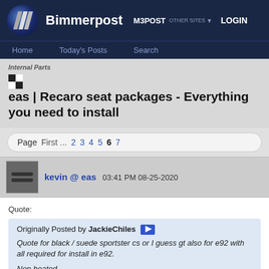Bimmerpost M3POST OTHER SITES LOGIN
Home  Today's Posts  Search
Internal Parts
eas | Recaro seat packages - Everything you need to install
Page First ... 2 3 4 5 6 7
kevin @ eas 03:41 PM 08-25-2020
Quote:
Originally Posted by JackieChiles
Quote for black / suede sportster cs or I guess gt also for e92 with all required for install in e92.

Non heated.

Still don't understand the difference between the cs